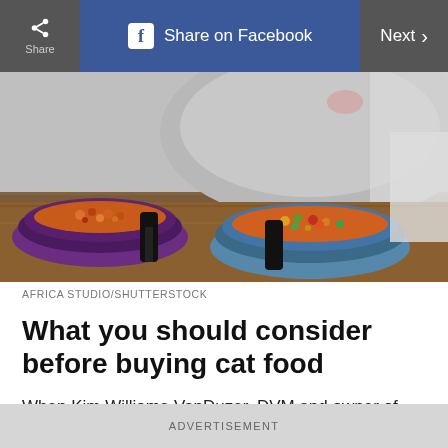Share | Share on Facebook | Next >
[Figure (photo): A cat eating from two food bowls (one orange/purple, one blue/purple with colorful kibble) on a wooden surface, cat partially visible in background]
AFRICA STUDIO/SHUTTERSTOCK
What you should consider before buying cat food
When Kim Williams-VanDuzer, DVM and owner of Prettyboy Veterinary Hospital in Freeland,
ADVERTISEMENT